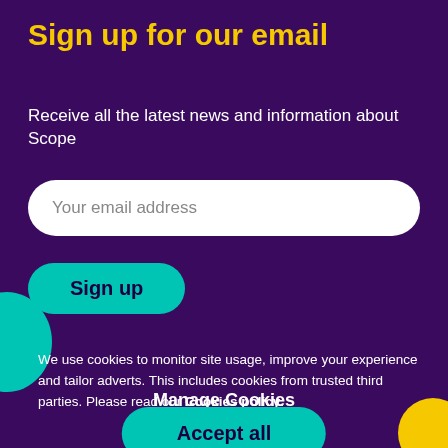Sign up for our email
Receive all the latest news and information about Scope
Your email address
Sign up
We use cookies to monitor site usage, improve your experience and tailor adverts. This includes cookies from trusted third parties. Please read our Cookies policy.
Manage Cookies
Accept all